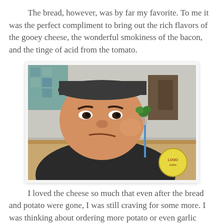The bread, however, was by far my favorite. To me it was the perfect compliment to bring out the rich flavors of the gooey cheese, the wonderful smokiness of the bacon, and the tinge of acid from the tomato.
[Figure (photo): A man in a black cap and black shirt staring skeptically at a piece of broccoli on a fork, with a restaurant logo visible in the lower right corner.]
I loved the cheese so much that even after the bread and potato were gone, I was still craving for some more. I was thinking about ordering more potato or even garlic bread so I could dip it into the sauce, but Rina says, "There's still a few more pieces of Broccoli left, why don't you eat that?" I